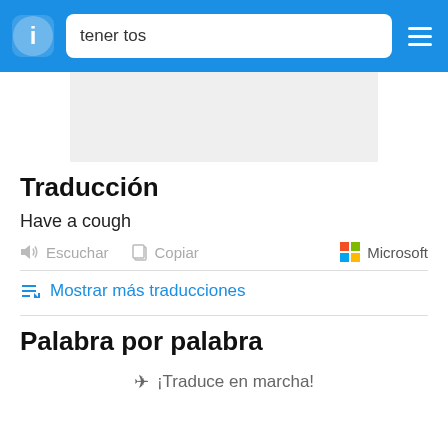tener tos
[Figure (screenshot): Gray placeholder/ad box]
Traducción
Have a cough
Escuchar   Copiar   Microsoft
Mostrar más traducciones
Palabra por palabra
✈ ¡Traduce en marcha!